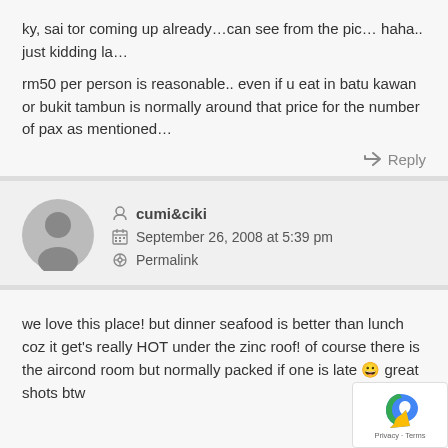ky, sai tor coming up already…can see from the pic… haha.. just kidding la…

rm50 per person is reasonable.. even if u eat in batu kawan or bukit tambun is normally around that price for the number of pax as mentioned…
↳ Reply
cumi&ciki
September 26, 2008 at 5:39 pm
Permalink
we love this place! but dinner seafood is better than lunch coz it get's really HOT under the zinc roof! of course there is the aircond room but normally packed if one is late 😀 great shots btw